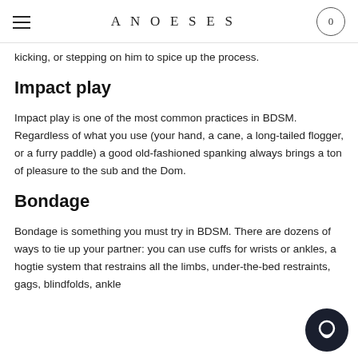ANOESES | 0
kicking, or stepping on him to spice up the process.
Impact play
Impact play is one of the most common practices in BDSM. Regardless of what you use (your hand, a cane, a long-tailed flogger, or a furry paddle) a good old-fashioned spanking always brings a ton of pleasure to the sub and the Dom.
Bondage
Bondage is something you must try in BDSM. There are dozens of ways to tie up your partner: you can use cuffs for wrists or ankles, a hogtie system that restrains all the limbs, under-the-bed restraints, gags, blindfolds, ankle